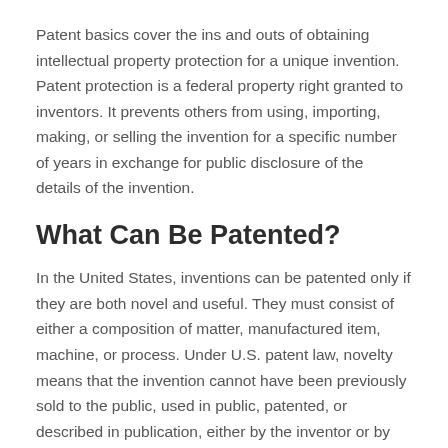Patent basics cover the ins and outs of obtaining intellectual property protection for a unique invention. Patent protection is a federal property right granted to inventors. It prevents others from using, importing, making, or selling the invention for a specific number of years in exchange for public disclosure of the details of the invention.
What Can Be Patented?
In the United States, inventions can be patented only if they are both novel and useful. They must consist of either a composition of matter, manufactured item, machine, or process. Under U.S. patent law, novelty means that the invention cannot have been previously sold to the public, used in public, patented, or described in publication, either by the inventor or by another